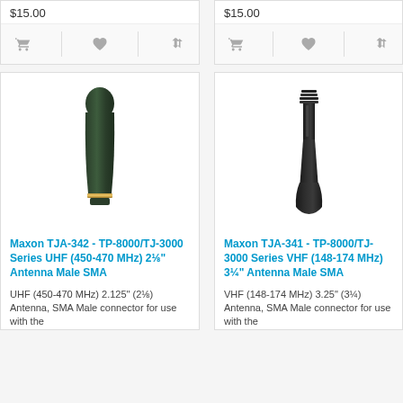$15.00
$15.00
[Figure (photo): Maxon TJA-342 antenna - dark green stubby UHF antenna with gold band at base]
Maxon TJA-342 - TP-8000/TJ-3000 Series UHF (450-470 MHz) 2⅛" Antenna Male SMA
UHF (450-470 MHz) 2.125" (2⅛) Antenna, SMA Male connector for use with the
[Figure (photo): Maxon TJA-341 antenna - black slim VHF antenna with threaded rings at top and tapered base, www.rfwireless.com watermark]
Maxon TJA-341 - TP-8000/TJ-3000 Series VHF (148-174 MHz) 3¼" Antenna Male SMA
VHF (148-174 MHz) 3.25" (3¼) Antenna, SMA Male connector for use with the